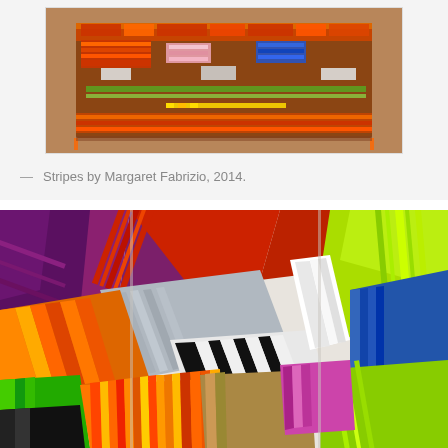[Figure (photo): Close-up photograph of a colorful textile artwork titled 'Stripes' showing a woven/quilted piece with multicolored stripes and geometric patterns in brown, orange, pink, blue, green, and white.]
— Stripes by Margaret Fabrizio, 2014.
[Figure (photo): Close-up detail photograph of a colorful striped quilt with many different fabric patterns including diagonal stripes, zebra print, and various multicolored stripe combinations in red, purple, green, blue, orange, yellow, black, and white.]